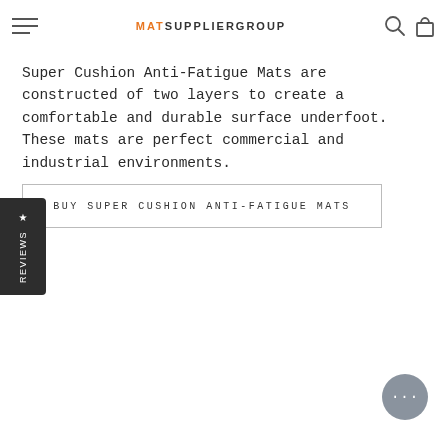MAT SUPPLIER GROUP
Super Cushion Anti-Fatigue Mats are constructed of two layers to create a comfortable and durable surface underfoot. These mats are perfect commercial and industrial environments.
BUY SUPER CUSHION ANTI-FATIGUE MATS
[Figure (other): Reviews sidebar tab with star icon and vertical REVIEWS text on dark background]
[Figure (other): Chat support bubble icon in bottom right corner]